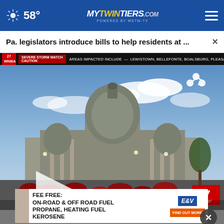58° mytwintiers.com
Pa. legislators introduce bills to help residents at ...
SEVERE STORM WATCH CAUTION — AREAS IMPACTED INCLUDE: LEWISTOWN, BELLEFONTE, BOALSBURG, PLEASANT GAP, LEN
[Figure (screenshot): Video thumbnail showing the Pennsylvania State Capitol building with red roses in the foreground, blue sky with clouds. A white play button triangle is overlaid. Channel 27 bug in bottom right corner showing 5:04 BD. Share icon in upper right.]
[Figure (screenshot): Advertisement banner: FEE FREE: ON-ROAD & OFF ROAD FUEL, PROPANE, HEATING FUEL, KEROSENE. E&V logo. FIND OUT MORE button.]